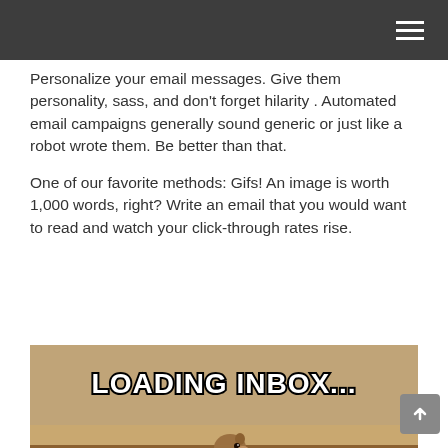Personalize your email messages. Give them personality, sass, and don't forget hilarity . Automated email campaigns generally sound generic or just like a robot wrote them. Be better than that.
One of our favorite methods: Gifs! An image is worth 1,000 words, right? Write an email that you would want to read and watch your click-through rates rise.
[Figure (photo): A meme image showing a prairie dog or ground squirrel sitting in sandy/dirt terrain with the text 'LOADING INBOX...' in bold white letters with black outline. Attribution: GrowthHero.net]